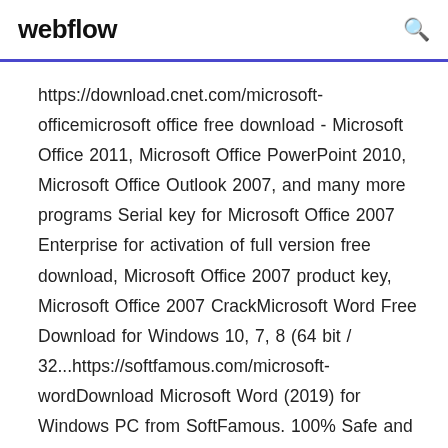webflow
https://download.cnet.com/microsoft-officemicrosoft office free download - Microsoft Office 2011, Microsoft Office PowerPoint 2010, Microsoft Office Outlook 2007, and many more programs Serial key for Microsoft Office 2007 Enterprise for activation of full version free download, Microsoft Office 2007 product key, Microsoft Office 2007 CrackMicrosoft Word Free Download for Windows 10, 7, 8 (64 bit / 32...https://softfamous.com/microsoft-wordDownload Microsoft Word (2019) for Windows PC from SoftFamous. 100% Safe and Secure. Free Download (64-bit / 32-bit). Microsoft also distribute a free word viewer